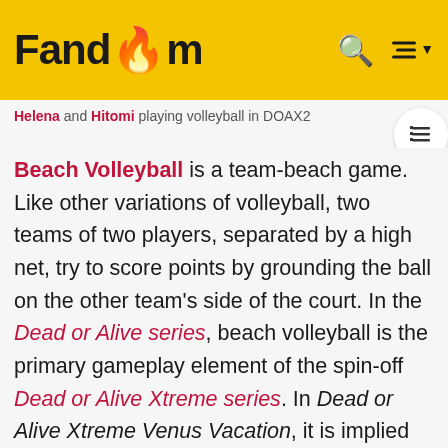Fandom
Helena and Hitomi playing volleyball in DOAX2
Beach Volleyball is a team-beach game. Like other variations of volleyball, two teams of two players, separated by a high net, try to score points by grounding the ball on the other team's side of the court. In the Dead or Alive series, beach volleyball is the primary gameplay element of the spin-off Dead or Alive Xtreme series. In Dead or Alive Xtreme Venus Vacation, it is implied by Momiji that the sport, alongside rock climbing, tree climbing, and a Nimba run (which entailed running a single lap around the island) acted as her and Hitomi's training regiment. In addition, Zack indicated to Misaki that beach volleyball acted as a religious ritual to the Venus Island's god, although Ayane implied that this had been a hoax on